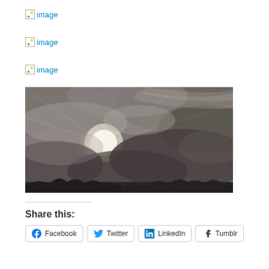[Figure (other): Broken image placeholder link labeled 'image' (first)]
[Figure (other): Broken image placeholder link labeled 'image' (second)]
[Figure (other): Broken image placeholder link labeled 'image' (third)]
[Figure (photo): Photograph of a dramatic cloudy sky with the sun partially visible through the clouds, with dark tree silhouettes at the bottom]
Share this:
Facebook  Twitter  LinkedIn  Tumblr